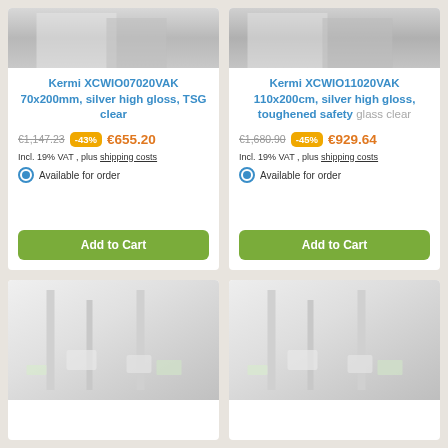[Figure (photo): Product photo top-left - shower door, gray tones, cropped at top]
[Figure (photo): Product photo top-right - shower door, gray tones, cropped at top]
Kermi XCWIO07020VAK 70x200mm, silver high gloss, TSG clear
€1,147.23 -43% €655.20
Incl. 19% VAT , plus shipping costs
Available for order
Add to Cart
Kermi XCWIO11020VAK 110x200cm, silver high gloss, toughened safety glass clear
€1,680.90 -45% €929.64
Incl. 19% VAT , plus shipping costs
Available for order
Add to Cart
[Figure (photo): Product photo bottom-left - shower enclosure interior, white, plants visible]
[Figure (photo): Product photo bottom-right - shower enclosure interior, white, plants visible]